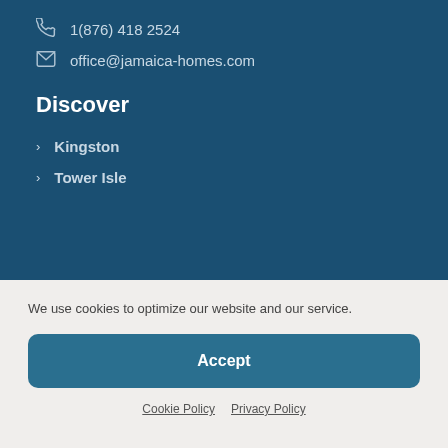1(876) 418 2524
office@jamaica-homes.com
Discover
Kingston
Tower Isle
We use cookies to optimize our website and our service.
Accept
Cookie Policy  Privacy Policy